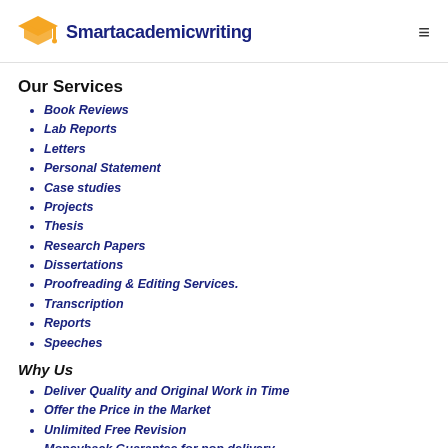Smartacademicwriting
Our Services
Book Reviews
Lab Reports
Letters
Personal Statement
Case studies
Projects
Thesis
Research Papers
Dissertations
Proofreading & Editing Services.
Transcription
Reports
Speeches
Why Us
Deliver Quality and Original Work in Time
Offer the Price in the Market
Unlimited Free Revision
Moneyback Guarantee for non delivery
Additional Discount for Referrals
All Prices at Discounted Rate
Work Done the Stipulated Time